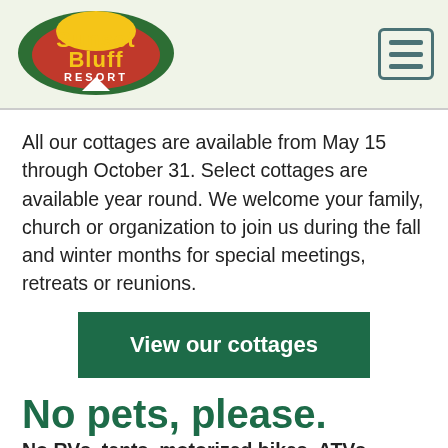Sunset Bluff Resort
All our cottages are available from May 15 through October 31. Select cottages are available year round. We welcome your family, church or organization to join us during the fall and winter months for special meetings, retreats or reunions.
View our cottages
No pets, please.
No RVs, tents, motorized bikes, ATVs, firearms, or